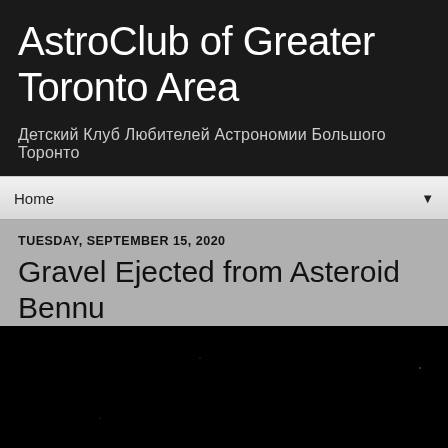AstroClub of Greater Toronto Area
Детский Клуб Любителей Астрономии Большого Торонто
Home
TUESDAY, SEPTEMBER 15, 2020
Gravel Ejected from Asteroid Bennu
[Figure (photo): Dark/black image, likely a space or astronomy photograph related to Asteroid Bennu]